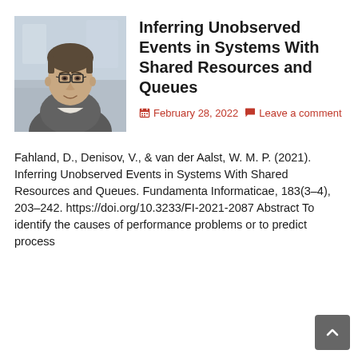[Figure (photo): Headshot photograph of a man wearing glasses and a grey sweater, smiling, against a blurred background]
Inferring Unobserved Events in Systems With Shared Resources and Queues
February 28, 2022   Leave a comment
Fahland, D., Denisov, V., & van der Aalst, W. M. P. (2021). Inferring Unobserved Events in Systems With Shared Resources and Queues. Fundamenta Informaticae, 183(3–4), 203–242. https://doi.org/10.3233/FI-2021-2087 Abstract To identify the causes of performance problems or to predict process